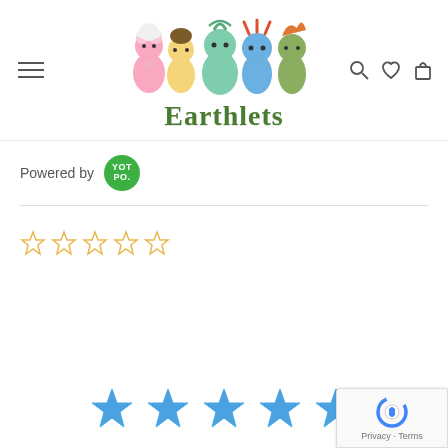[Figure (logo): Earthlets logo with five colorful cartoon characters (pink, yellow, teal, blue, green) above the text 'Earthlets' in green handwritten-style font]
[Figure (infographic): Navigation bar with hamburger menu on left, search, heart/wishlist, and shopping bag icons on right]
Powered by YOTPO
[Figure (infographic): Five empty gold star rating icons]
[Figure (infographic): Five filled blue star rating icons]